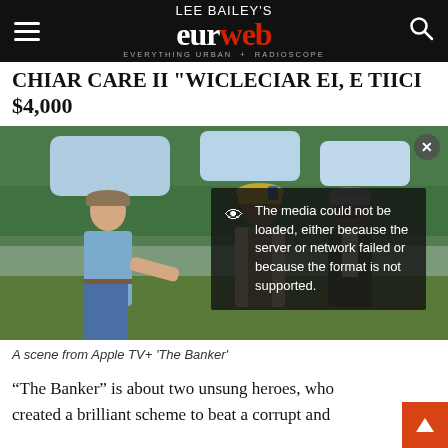Lee Bailey's eurweb — Everything Urban + Radioscope
$4,000
[Figure (photo): A scene from Apple TV+ 'The Banker' showing three men in period clothing outdoors. An error overlay reads: The media could not be loaded, either because the server or network failed or because the format is not supported.]
A scene from Apple TV+ 'The Banker'
“The Banker” is about two unsung heroes, who created a brilliant scheme to beat a corrupt and